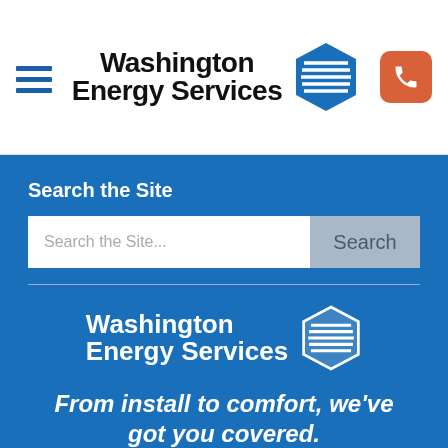[Figure (logo): Washington Energy Services logo with hamburger menu icon on the left and phone button on the right in the white header bar]
Search the Site
[Figure (screenshot): Search input bar with placeholder 'Search the Site...' and a Search button]
[Figure (logo): Washington Energy Services white logo in the blue footer area]
From install to comfort, we've got you covered.
2022 © Washington Energy Services. All Rights Reserved